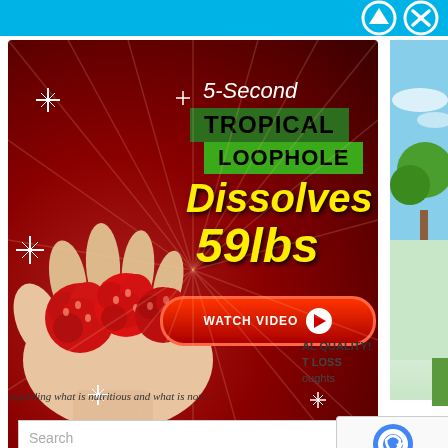[Figure (screenshot): Web page screenshot showing a popup advertisement overlay. The popup has a blue top bar with navigation arrows and close button. The ad shows '5-Second TROPICAL LOOPHOLE Dissolves 59lbs' with a WATCH VIDEO button, overlaid on a hand holding red fruit against a dark red background. Below the popup is partial page content with text about nutrition, a search box, and a SHOP NOW heading. A reCAPTCHA widget is visible in the lower right.]